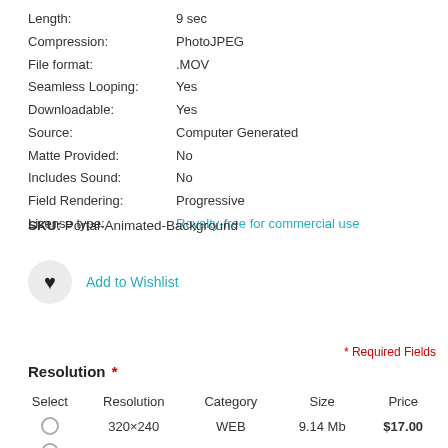Length: 9 sec
Compression: PhotoJPEG
File format: .MOV
Seamless Looping: Yes
Downloadable: Yes
Source: Computer Generated
Matte Provided: No
Includes Sound: No
Field Rendering: Progressive
License type: Royalty-free for commercial use
SKU: Portal-Animated-Background
Add to Wishlist
* Required Fields
Resolution *
| Select | Resolution | Category | Size | Price |
| --- | --- | --- | --- | --- |
| ○ | 320×240 | WEB | 9.14 Mb | $17.00 |
| ○ | 768×576 | PAL | 35.64 Mb | $35.00 |